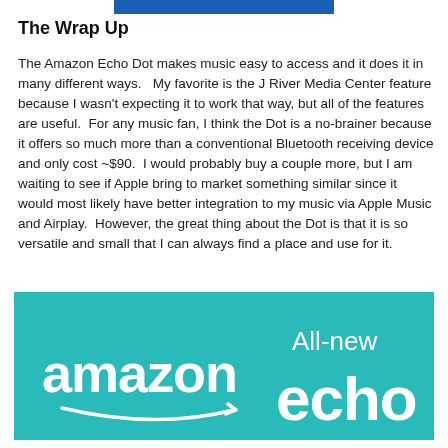[Figure (other): Blue horizontal bar at top center of page]
The Wrap Up
The Amazon Echo Dot makes music easy to access and it does it in many different ways.   My favorite is the J River Media Center feature because I wasn't expecting it to work that way, but all of the features are useful.  For any music fan, I think the Dot is a no-brainer because it offers so much more than a conventional Bluetooth receiving device and only cost ~$90.  I would probably buy a couple more, but I am waiting to see if Apple bring to market something similar since it would most likely have better integration to my music via Apple Music and Airplay.  However, the great thing about the Dot is that it is so versatile and small that I can always find a place and use for it.
[Figure (logo): Amazon Echo advertisement banner with teal background showing 'amazon' logo with smile and 'All-new echo' text in white]